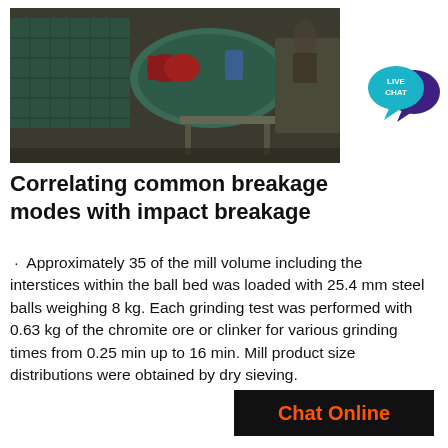[Figure (photo): Industrial grinding mill machinery with motor and steel cylindrical drum, photographed in a workshop/factory setting.]
[Figure (logo): Live Chat badge: teal speech bubble with 'LIVE CHAT' text and a dark purple speech bubble icon.]
Correlating common breakage modes with impact breakage
Approximately 35 of the mill volume including the interstices within the ball bed was loaded with 25.4 mm steel balls weighing 8 kg. Each grinding test was performed with 0.63 kg of the chromite ore or clinker for various grinding times from 0.25 min up to 16 min. Mill product size distributions were obtained by dry sieving.
Chat Online